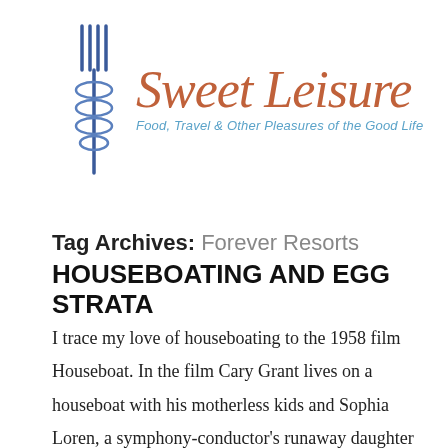[Figure (logo): Sweet Leisure blog logo: a fork/skewer illustration in dark blue on the left, with 'Sweet Leisure' in orange cursive script and subtitle 'Food, Travel & Other Pleasures of the Good Life' in light blue italic sans-serif text.]
Tag Archives: Forever Resorts
HOUSEBOATING AND EGG STRATA
I trace my love of houseboating to the 1958 film Houseboat. In the film Cary Grant lives on a houseboat with his motherless kids and Sophia Loren, a symphony-conductor's runaway daughter masquerading as a housekeeper. So romantic. So